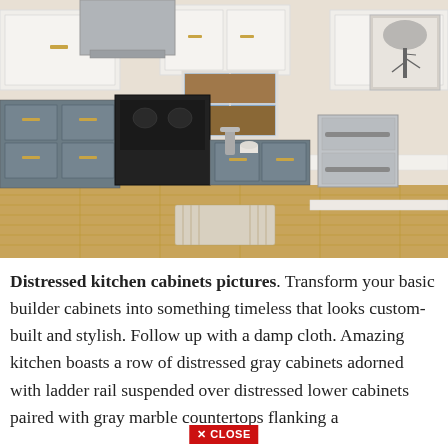[Figure (photo): Kitchen interior with two-tone cabinets: upper white cabinets and lower slate gray cabinets with gold/brass hardware. Features a stainless steel range hood, black range/stove, stainless steel under-counter refrigerator drawers, white quartz countertops, hardwood floors, and a window above the sink. A black-and-white tree art print hangs on the right wall.]
Distressed kitchen cabinets pictures. Transform your basic builder cabinets into something timeless that looks custom-built and stylish. Follow up with a damp cloth. Amazing kitchen boasts a row of distressed gray cabinets adorned with ladder rail suspended over distressed lower cabinets paired with gray marble countertops flanking a